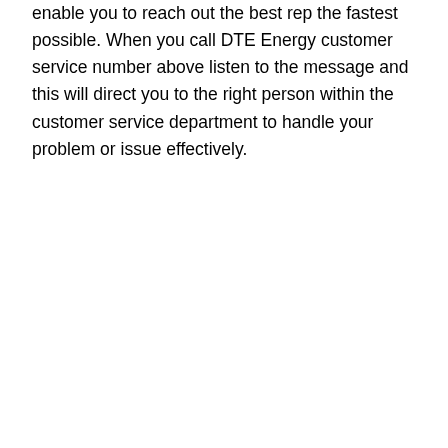enable you to reach out the best rep the fastest possible. When you call DTE Energy customer service number above listen to the message and this will direct you to the right person within the customer service department to handle your problem or issue effectively.